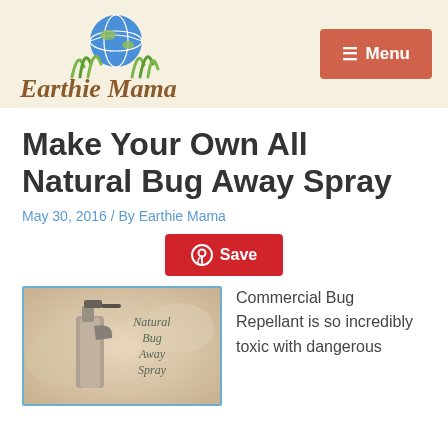[Figure (logo): Earthie Mama logo with globe and green grass graphic above italic brown text 'Earthie Mama']
[Figure (other): Red button with hamburger menu icon and text 'Menu']
Make Your Own All Natural Bug Away Spray
May 30, 2016 / By Earthie Mama
[Figure (other): Red Pinterest Save button with Pinterest icon]
[Figure (photo): Photo of a spray bottle labeled 'Natural Bug Away Spray' with blurred background]
Commercial Bug Repellant is so incredibly toxic with dangerous